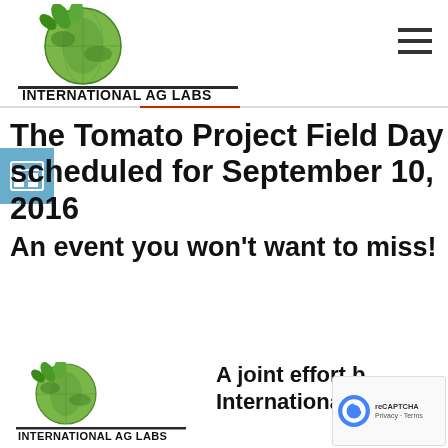[Figure (logo): International Ag Labs logo with globe graphic, plant leaves, and tagline 'A Biological Approach to Agriculture']
The Tomato Project Field Day scheduled for September 10, 2016
An event you won't want to miss!
[Figure (logo): International Ag Labs logo repeated at bottom left]
A joint effort b... International Ag...